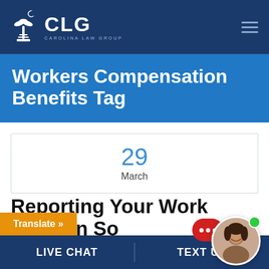[Figure (logo): CLG Carolina Law Group logo with palm tree and moon icon on dark navy background]
Workers Compensation Benefits Tag
29
March
Reporting Your Work Injury In South Carolina: What You
[Figure (photo): Chat widget with red bubble and smiling woman avatar with green online indicator]
Translate »
LIVE CHAT   TEXT US